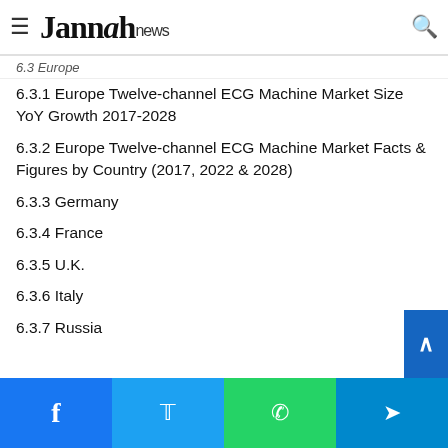Jannah news
6.3 Europe
6.3.1 Europe Twelve-channel ECG Machine Market Size YoY Growth 2017-2028
6.3.2 Europe Twelve-channel ECG Machine Market Facts & Figures by Country (2017, 2022 & 2028)
6.3.3 Germany
6.3.4 France
6.3.5 U.K.
6.3.6 Italy
6.3.7 Russia
6.4 Latin America
6.4.1 Latin America Twelve-channel ECG Machine Market Size YoY Growth 2017-2028
6.4.2 Latin America Twelve-channel ECG Machine Market Facts & Figures by Country (2017, 2022 & 2028)